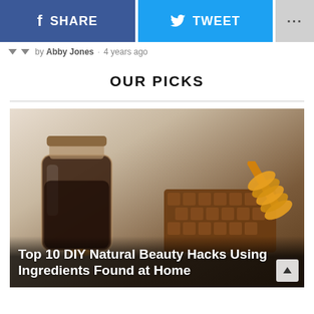[Figure (screenshot): Social share buttons: Facebook SHARE button (blue), Twitter TWEET button (light blue), and a grey more options (...) button]
by Abby Jones · 4 years ago
OUR PICKS
[Figure (photo): Photo of a dark honey jar and honeycomb with a honey dipper on a wooden surface with a light wood background]
Top 10 DIY Natural Beauty Hacks Using Ingredients Found at Home